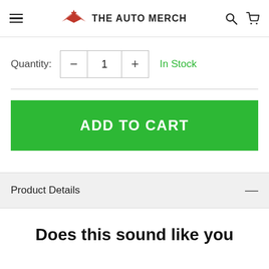THE AUTO MERCH
Quantity: - 1 + In Stock
[Figure (screenshot): Add to Cart green button]
Product Details
Does this sound like you